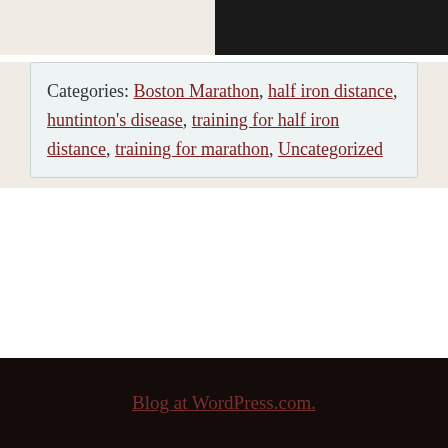Categories: Boston Marathon, half iron distance, huntinton's disease, training for half iron distance, training for marathon, Uncategorized
Meta
Register
Log in
Entries feed
Comments feed
WordPress.com
Blog at WordPress.com.